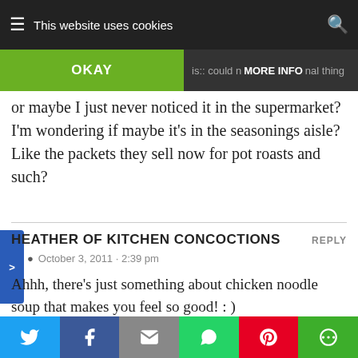This website uses cookies — OKAY — MORE INFO
or maybe I just never noticed it in the supermarket? I'm wondering if maybe it's in the seasonings aisle? Like the packets they sell now for pot roasts and such?
HEATHER OF KITCHEN CONCOCTIONS
October 3, 2011 - 2:39 pm
Ahhh, there's just something about chicken noodle soup that makes you feel so good! : )
HEATHER OF KITCHEN CONCOCTIONS
Twitter | Facebook | Email | WhatsApp | Pinterest | More